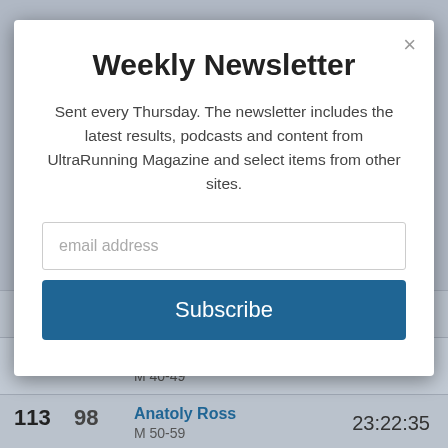[Figure (screenshot): Background results table partially visible]
Weekly Newsletter
Sent every Thursday. The newsletter includes the latest results, podcasts and content from UltraRunning Magazine and select items from other sites.
email address
Subscribe
| Place | Bib | Name / Category | Time |
| --- | --- | --- | --- |
| 111 | 96 | M 40-49 | 23:21:32 |
| 112 | 97 | Alexandre Benoit
M 40-49 | 23:22:32 |
| 113 | 98 | Anatoly Ross
M 50-59 | 23:22:35 |